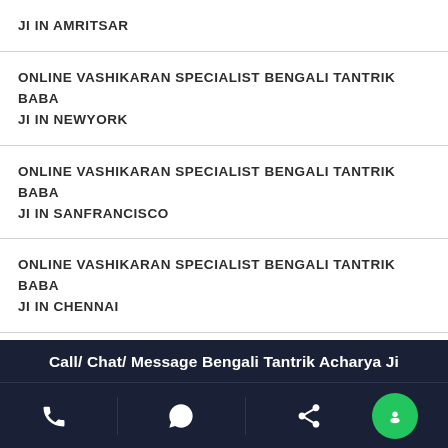JI IN AMRITSAR
ONLINE VASHIKARAN SPECIALIST BENGALI TANTRIK BABA JI IN NEWYORK
ONLINE VASHIKARAN SPECIALIST BENGALI TANTRIK BABA JI IN SANFRANCISCO
ONLINE VASHIKARAN SPECIALIST BENGALI TANTRIK BABA JI IN CHENNAI
ONLINE VASHIKARAN SPECIALIST BENGALI TANTRIK BABA JI IN BANGALORE
ONLINE VASHIKARAN SPECIALIST BENGALI TANTRIK BABA
Call/ Chat/ Message Bengali Tantrik Acharya Ji